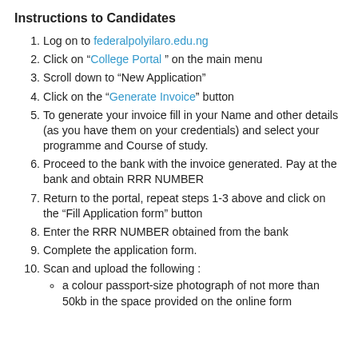Instructions to Candidates
Log on to federalpolyilaro.edu.ng
Click on “College Portal” on the main menu
Scroll down to “New Application”
Click on the “Generate Invoice” button
To generate your invoice fill in your Name and other details (as you have them on your credentials) and select your programme and Course of study.
Proceed to the bank with the invoice generated. Pay at the bank and obtain RRR NUMBER
Return to the portal, repeat steps 1-3 above and click on the “Fill Application form” button
Enter the RRR NUMBER obtained from the bank
Complete the application form.
Scan and upload the following :
a colour passport-size photograph of not more than 50kb in the space provided on the online form